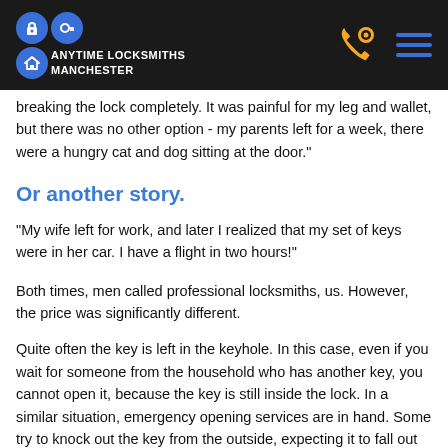ANYTIME LOCKSMITHS MANCHESTER
breaking the lock completely. It was painful for my leg and wallet, but there was no other option - my parents left for a week, there were a hungry cat and dog sitting at the door."
Or another story.
"My wife left for work, and later I realized that my set of keys were in her car. I have a flight in two hours!"
Both times, men called professional locksmiths, us. However, the price was significantly different.
Quite often the key is left in the keyhole. In this case, even if you wait for someone from the household who has another key, you cannot open it, because the key is still inside the lock. In a similar situation, emergency opening services are in hand. Some try to knock out the key from the outside, expecting it to fall out on the ground. It results in expensive work and complete lock replacement. But they could have avoided it.